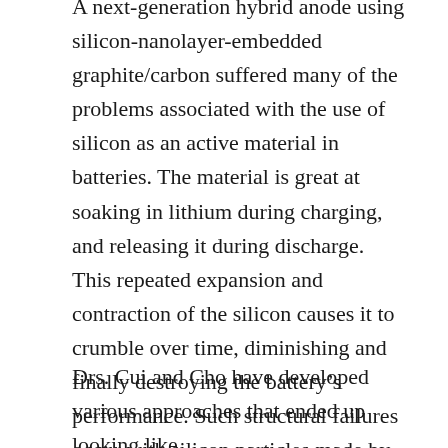A next-generation hybrid anode using silicon-nanolayer-embedded graphite/carbon suffered many of the problems associated with the use of silicon as an active material in batteries. The material is great at soaking in lithium during charging, and releasing it during discharge.  This repeated expansion and contraction of the silicon causes it to crumble over time, diminishing and finally destroying the battery's performance. Such structural failures occur with silicon particles made by conventional mechanical milling.
Drs. Cui and Cho have developed various approaches that ended up looking like